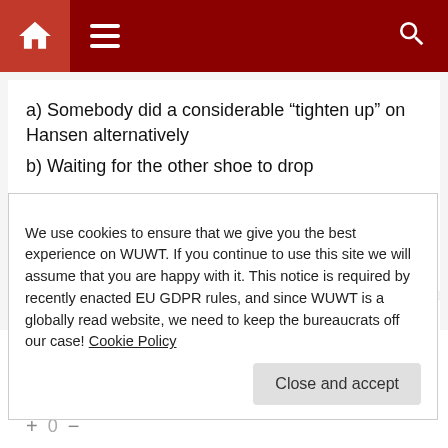Navigation header with home, menu, and search icons
a) Somebody did a considerable “tighten up” on Hansen alternatively
b) Waiting for the other shoe to drop
or
c) He’s lost it
+ 0 −
wikerev
We use cookies to ensure that we give you the best experience on WUWT. If you continue to use this site we will assume that you are happy with it. This notice is required by recently enacted EU GDPR rules, and since WUWT is a globally read website, we need to keep the bureaucrats off our case! Cookie Policy
Close and accept
+ 0 −